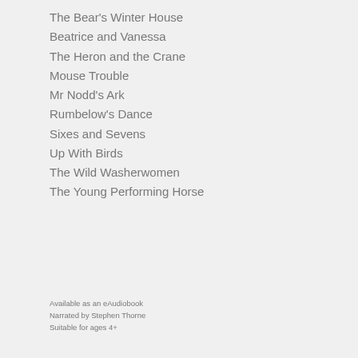The Bear's Winter House
Beatrice and Vanessa
The Heron and the Crane
Mouse Trouble
Mr Nodd's Ark
Rumbelow's Dance
Sixes and Sevens
Up With Birds
The Wild Washerwomen
The Young Performing Horse
Available as an eAudiobook
Narrated by Stephen Thorne
Suitable for ages 4+